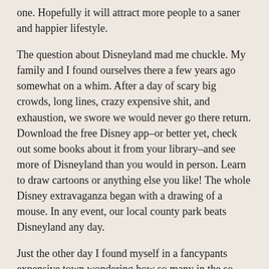one. Hopefully it will attract more people to a saner and happier lifestyle.
The question about Disneyland mad me chuckle. My family and I found ourselves there a few years ago somewhat on a whim. After a day of scary big crowds, long lines, crazy expensive shit, and exhaustion, we swore we would never go there return. Download the free Disney app–or better yet, check out some books about it from your library–and see more of Disneyland than you would in person. Learn to draw cartoons or anything else you like! The whole Disney extravaganza began with a drawing of a mouse. In any event, our local county park beats Disneyland any day.
Just the other day I found myself in a fancypants expensive town wondering how so many in the so-called first world think that lifestyle is desirable. Expensive gas guzzlers, designer clothes and bags, people clogging the roads harvesting bags of stuff they don't need, overpriced restaurants serving huge entrees laden with wheat and who knows what else...it all seemed so silly and pointless. I couldn't get to get home to cook with real food and spend